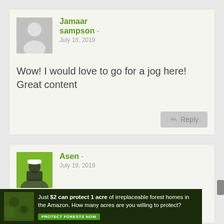[Figure (illustration): Comment card for Jamaar sampson with placeholder avatar, date July 18 2019, comment text and reply button]
Jamaar sampson - July 18, 2019
Wow! I would love to go for a jog here! Great content
[Figure (illustration): Comment card for Asen with photo avatar, date July 19 2019, and partial comment text]
Asen - July 19, 2019
Hey Jamaar,
[Figure (infographic): Ad banner: Just $2 can protect 1 acre of irreplaceable forest homes in the Amazon. How many acres are you willing to protect? PROTECT FORESTS NOW]